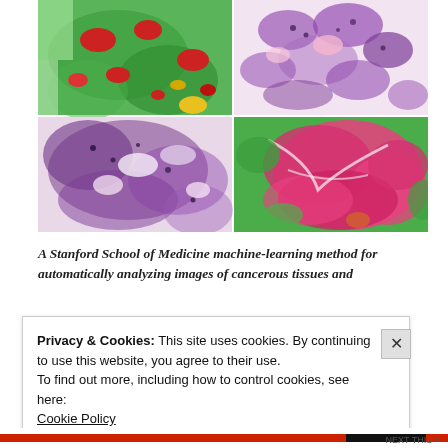[Figure (photo): Four-panel composite of histological tissue images. Top-left: green-segmented cancerous tissue overlay with red/yellow highlights. Top-right: H&E stained tissue showing purple/pink cancerous glands. Bottom-left: H&E stained tissue with purple and light pink staining showing tissue architecture. Bottom-right: green-segmented tissue with pink/red cancerous regions.]
A Stanford School of Medicine machine-learning method for automatically analyzing images of cancerous tissues and
Privacy & Cookies: This site uses cookies. By continuing to use this website, you agree to their use.
To find out more, including how to control cookies, see here:
Cookie Policy
Close and accept